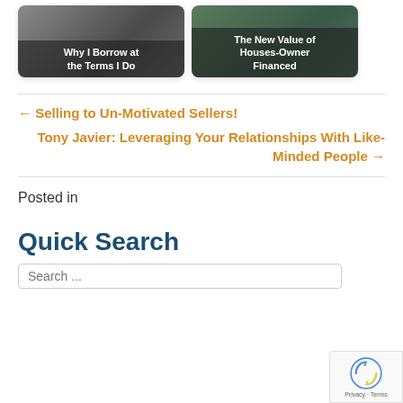[Figure (photo): Card thumbnail: 'Why I Borrow at the Terms I Do' with dark overlay on a calculator/money image]
[Figure (photo): Card thumbnail: 'The New Value of Houses-Owner Financed' with dark overlay on a house/keys image]
← Selling to Un-Motivated Sellers!
Tony Javier: Leveraging Your Relationships With Like-Minded People →
Posted in
Quick Search